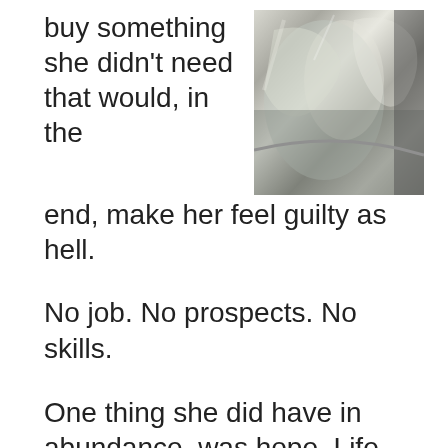buy something she didn't need that would, in the end, make her feel guilty as hell.
[Figure (photo): Close-up photo of shiny chrome or metallic surface, possibly a kitchen appliance or mixer bowl, with reflections visible.]
No job. No prospects. No skills.
One thing she did have in abundance, was hope. Life had been less than fair to Allie, but as her old grandma would say, “Get used to it Miss Allie, life’s not fair, so get over yourself.”
She figured that meant there was no point in